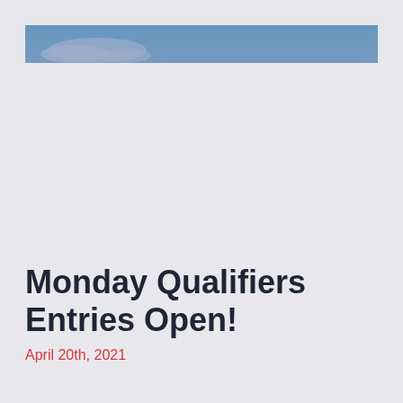[Figure (photo): Banner image showing a sky with clouds, overlaid with a solid steel blue color band across the top of the page.]
Monday Qualifiers Entries Open!
April 20th, 2021